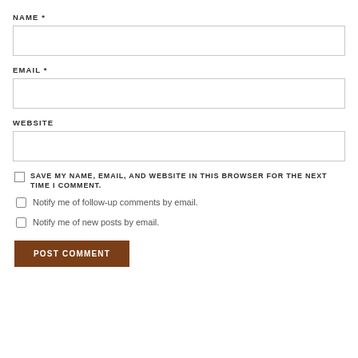NAME *
[Figure (screenshot): Empty text input field for NAME]
EMAIL *
[Figure (screenshot): Empty text input field for EMAIL]
WEBSITE
[Figure (screenshot): Empty text input field for WEBSITE]
SAVE MY NAME, EMAIL, AND WEBSITE IN THIS BROWSER FOR THE NEXT TIME I COMMENT.
Notify me of follow-up comments by email.
Notify me of new posts by email.
POST COMMENT